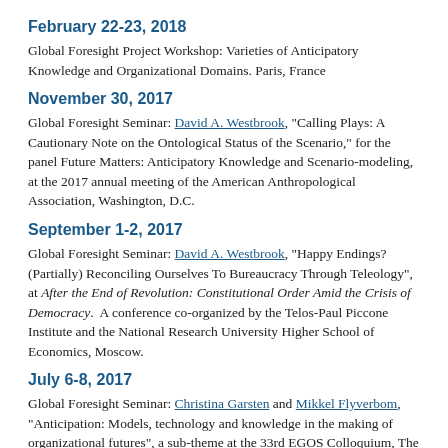February 22-23, 2018
Global Foresight Project Workshop: Varieties of Anticipatory Knowledge and Organizational Domains. Paris, France
November 30, 2017
Global Foresight Seminar: David A. Westbrook, "Calling Plays: A Cautionary Note on the Ontological Status of the Scenario," for the panel Future Matters: Anticipatory Knowledge and Scenario-modeling, at the 2017 annual meeting of the American Anthropological Association, Washington, D.C.
September 1-2, 2017
Global Foresight Seminar: David A. Westbrook, "Happy Endings? (Partially) Reconciling Ourselves To Bureaucracy Through Teleology", at After the End of Revolution: Constitutional Order Amid the Crisis of Democracy. A conference co-organized by the Telos-Paul Piccone Institute and the National Research University Higher School of Economics, Moscow.
July 6-8, 2017
Global Foresight Seminar: Christina Garsten and Mikkel Flyverbom, "Anticipation: Models, technology and knowledge in the making of organizational futures", a sub-theme at the 33rd EGOS Colloquium, The Good Organization – Aspirations, Interventions, Struggles, Copenhagen, Denmark.
June 17, 2017